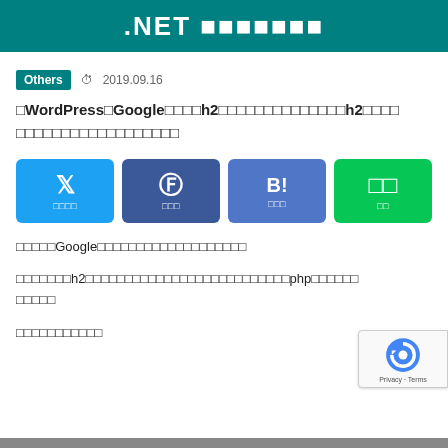.NET プログラマー
Others  2019.09.16
【WordPress】Googleの検索でh2タグの内容が検索結果に表示されh2タグを独自のものに変更する方法
[Figure (infographic): Social share buttons: Twitter, Facebook, Hatena Bookmark, LINE]
今回はGoogleの検索結果にh2タグの内容が表示される現象について説明します。
デフォルトではh2タグを独自のものに変更する場合、テーマのsingle.phpなどを修正する必要があります。
以上で設定は完了です。